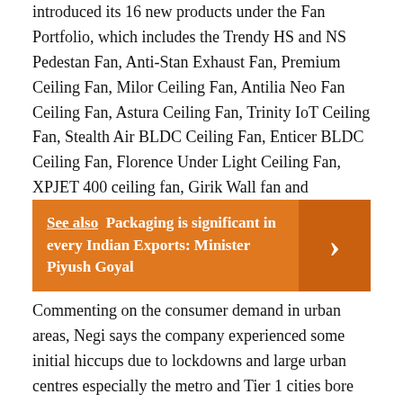introduced its 16 new products under the Fan Portfolio, which includes the Trendy HS and NS Pedestan Fan, Anti-Stan Exhaust Fan, Premium Ceiling Fan, Milor Ceiling Fan, Antilia Neo Fan Ceiling Fan, Astura Ceiling Fan, Trinity IoT Ceiling Fan, Stealth Air BLDC Ceiling Fan, Enticer BLDC Ceiling Fan, Florence Under Light Ceiling Fan, XPJET 400 ceiling fan, Girik Wall fan and Efficiencia Prime, Pro and Neo Ceiling Fan Range.
See also  Packaging is significant in every Indian Exports: Minister Piyush Goyal
Commenting on the consumer demand in urban areas, Negi says the company experienced some initial hiccups due to lockdowns and large urban centres especially the metro and Tier 1 cities bore the maximum impact of the lockdown. With unlock, demand has been stabilised in all urban markets and is